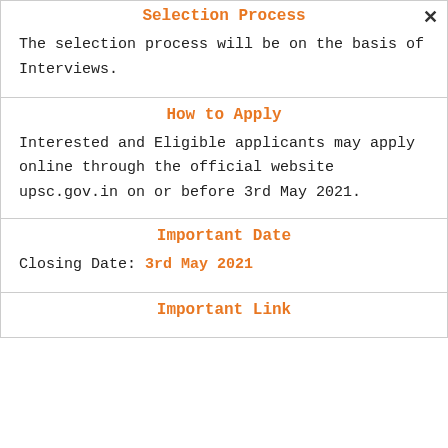Selection Process
The selection process will be on the basis of Interviews.
How to Apply
Interested and Eligible applicants may apply online through the official website upsc.gov.in on or before 3rd May 2021.
Important Date
Closing Date: 3rd May 2021
Important Link